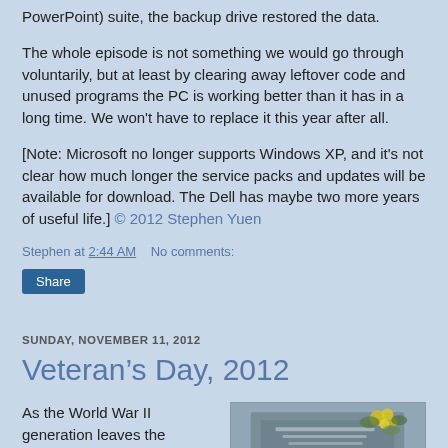PowerPoint) suite, the backup drive restored the data.
The whole episode is not something we would go through voluntarily, but at least by clearing away leftover code and unused programs the PC is working better than it has in a long time. We won't have to replace it this year after all.
[Note: Microsoft no longer supports Windows XP, and it's not clear how much longer the service packs and updates will be available for download. The Dell has maybe two more years of useful life.] © 2012 Stephen Yuen
Stephen at 2:44 AM    No comments:
Share
SUNDAY, NOVEMBER 11, 2012
Veteran’s Day, 2012
As the World War II generation leaves the
[Figure (photo): Gravestone with yellow flowers and foliage, likely a memorial or cemetery photograph for Veteran's Day.]